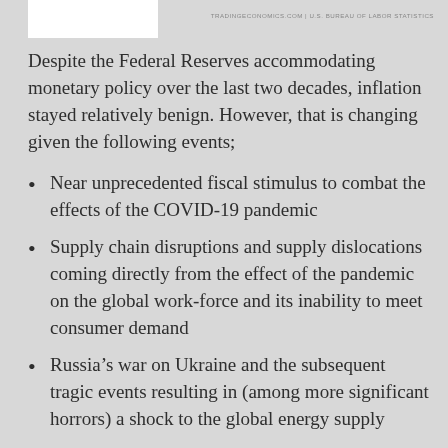TRADINGECONOMICS.COM | U.S. BUREAU OF LABOR STATISTICS
Despite the Federal Reserves accommodating monetary policy over the last two decades, inflation stayed relatively benign. However, that is changing given the following events;
Near unprecedented fiscal stimulus to combat the effects of the COVID-19 pandemic
Supply chain disruptions and supply dislocations coming directly from the effect of the pandemic on the global work-force and its inability to meet consumer demand
Russia’s war on Ukraine and the subsequent tragic events resulting in (among more significant horrors) a shock to the global energy supply
These events, in combination with the